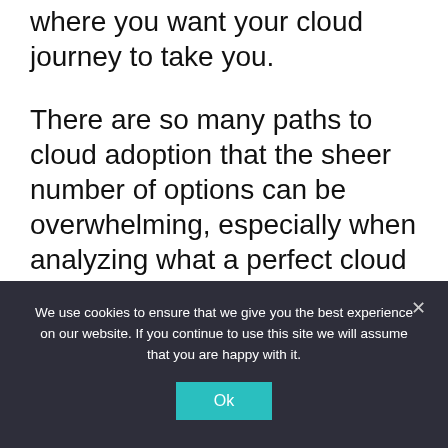where you want your cloud journey to take you.
There are so many paths to cloud adoption that the sheer number of options can be overwhelming, especially when analyzing what a perfect cloud implementation could look like. It is important to be realistic about how much change your organization can withstand at once and to try and keep your program simple, since it's tempting to try to incorporate every cloud service and modernization tool all at once.
We use cookies to ensure that we give you the best experience on our website. If you continue to use this site we will assume that you are happy with it.